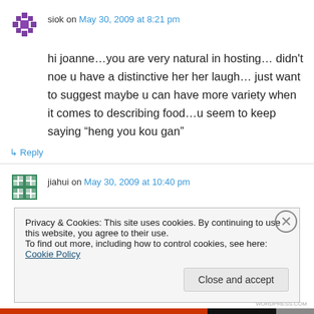siok on May 30, 2009 at 8:21 pm
hi joanne…you are very natural in hosting… didn't noe u have a distinctive her her laugh… just want to suggest maybe u can have more variety when it comes to describing food…u seem to keep saying “heng you kou gan”
↳ Reply
jiahui on May 30, 2009 at 10:40 pm
Privacy & Cookies: This site uses cookies. By continuing to use this website, you agree to their use. To find out more, including how to control cookies, see here: Cookie Policy